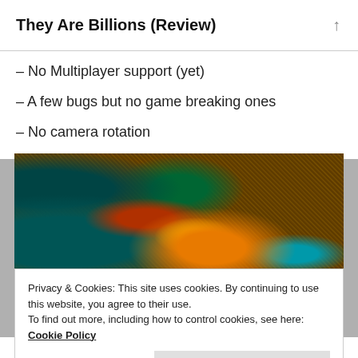They Are Billions (Review)
– No Multiplayer support (yet)
– A few bugs but no game breaking ones
– No camera rotation
[Figure (screenshot): Isometric game screenshot of They Are Billions showing a top-down view of a zombie-infested map with fire, trees, water, and snow terrain]
Privacy & Cookies: This site uses cookies. By continuing to use this website, you agree to their use.
To find out more, including how to control cookies, see here: Cookie Policy
Close and accept
I am very curious what this game will become in